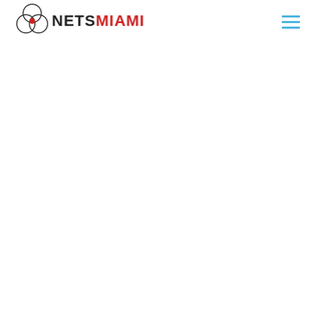[Figure (logo): NetsMiami logo: overlapping circles icon on the left, bold text NETS in dark/black and MIAMI in red, navigation hamburger menu icon (three blue horizontal lines) on the right]
NETSMIAMI